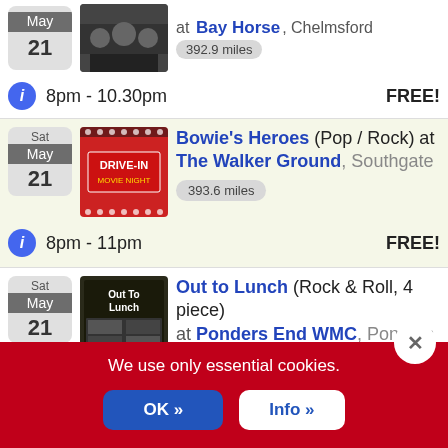May 21 at Bay Horse, Chelmsford 392.9 miles
8pm - 10.30pm FREE!
Bowie's Heroes (Pop / Rock) at The Walker Ground, Southgate 393.6 miles
8pm - 11pm FREE!
Out to Lunch (Rock & Roll, 4 piece) at Ponders End WMC, Ponders End
We use only essential cookies.
OK »
Info »